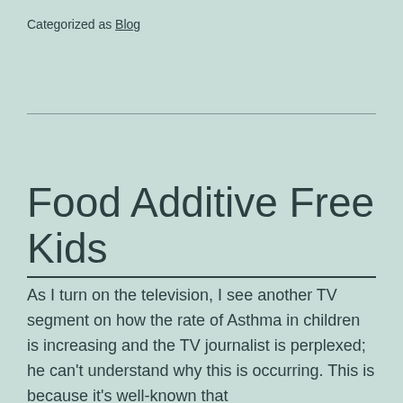Categorized as Blog
Food Additive Free Kids
As I turn on the television, I see another TV segment on how the rate of Asthma in children is increasing and the TV journalist is perplexed; he can't understand why this is occurring. This is because it's well-known that